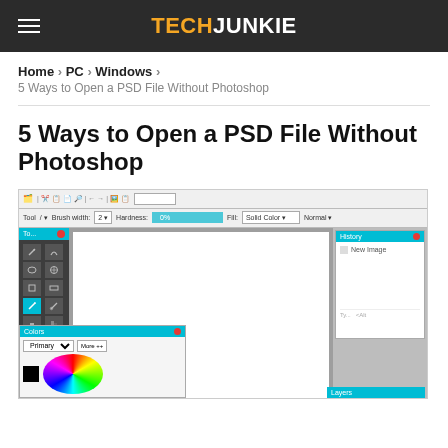TECHJUNKIE
Home > PC > Windows > 5 Ways to Open a PSD File Without Photoshop
5 Ways to Open a PSD File Without Photoshop
[Figure (screenshot): Screenshot of a GIMP-like image editing application showing toolbox on the left, canvas in the center, and panels (History, Colors, Layers) on the sides]